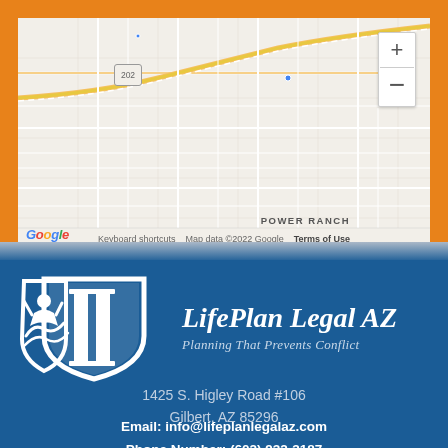[Figure (map): Google Maps screenshot showing area around Gilbert, AZ with highway 202 visible. Map controls (zoom in/out) on right side. Google logo and attribution bar at bottom showing 'POWER RANCH', 'Keyboard shortcuts', 'Map data ©2022 Google', 'Terms of Use'.]
[Figure (logo): LifePlan Legal AZ logo with shield icon and two columns/pillars, white on blue background. Text reads 'LifePlan Legal AZ' in italic white, and 'Planning That Prevents Conflict' beneath.]
1425 S. Higley Road #106
Gilbert, AZ 85296
Email: info@lifeplanlegalaz.com
Phone Number: (602) 932-3187